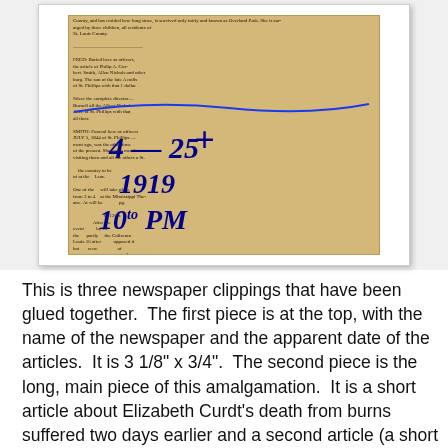[Figure (photo): A photograph of three newspaper clippings glued together, yellowed/aged, with handwritten blue ink annotations reading '4-25', '1919', and '10:to PM', plus a hand-drawn cross/plus sign and a curved blue line. The clipping contains small dense newsprint text.]
This is three newspaper clippings that have been glued together.  The first piece is at the top, with the name of the newspaper and the apparent date of the articles.  It is 3 1/8" x 3/4".  The second piece is the long, main piece of this amalgamation.  It is a short article about Elizabeth Curdt's death from burns suffered two days earlier and a second article (a short piece about "Pershing's Own Band" giving performances) that is partially obscured by the third clipping.  It is 2 1/8" x 7 1/8".  The third piece has been pasted in the middle of the long piece, just below the report of Elizabeth's